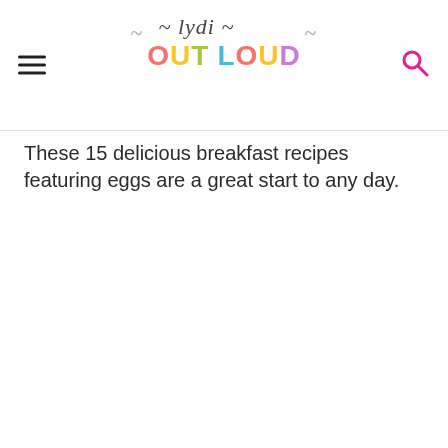lydi OUT LOUD
These 15 delicious breakfast recipes featuring eggs are a great start to any day.